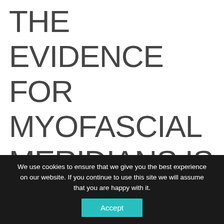THE EVIDENCE FOR MYOFASCIAL MERIDIANS IS BECOMING DIFFICULT TO
We use cookies to ensure that we give you the best experience on our website. If you continue to use this site we will assume that you are happy with it.